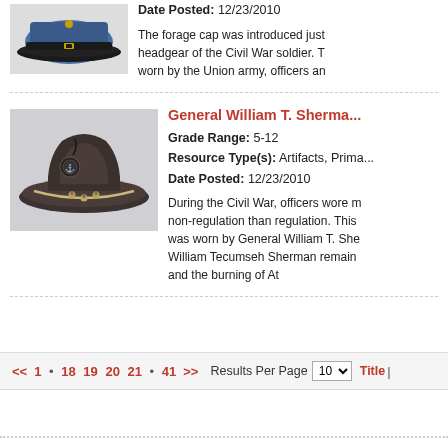[Figure (photo): Photo of a Civil War forage cap (blue military cap with black brim and buckle)]
Date Posted: 12/23/2010
The forage cap was introduced just headgear of the Civil War soldier. T worn by the Union army, officers an
[Figure (photo): Photo of General William T. Sherman's hat - a broad-brimmed dark felt hat with a cord band and acorn decorations]
General William T. Sherma...
Grade Range: 5-12
Resource Type(s): Artifacts, Prima...
Date Posted: 12/23/2010
During the Civil War, officers wore m non-regulation than regulation. This was worn by General William T. She William Tecumseh Sherman remain and the burning of At
<< 1 • 18 19 20 21 • 41 >> Results Per Page 10 Title |